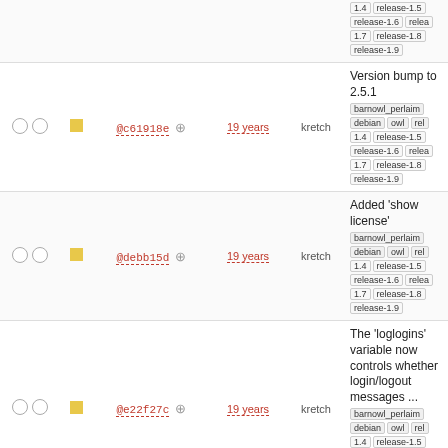| checks | sq | hash | age | author | description |
| --- | --- | --- | --- | --- | --- |
| ○ ○ | ■ | @c61918e ⊕ | 19 years | kretch | Version bump to 2.5.1 | barnowl_perlaim debian owl rel | 1.4 release-1.5 release-1.6 relea | 1.7 release-1.8 release-1.9 |
| ○ ○ | ■ | @debb15d ⊕ | 19 years | kretch | Added 'show license' | barnowl_perlaim debian owl rel | 1.4 release-1.5 release-1.6 relea | 1.7 release-1.8 release-1.9 |
| ○ ○ | ■ | @e22f27c ⊕ | 19 years | kretch | The 'loglogins' variable now controls whether login/logout messages ... | barnowl_perlaim debian owl rel | 1.4 release-1.5 release-1.6 relea | 1.7 release-1.8 release-1.9 |
| ○ ○ | ■ | @5d365f6 ⊕ | 19 years | kretch | The 'personalbell' variable can be set to 'on' 'off' or the name ... | barnowl_perlaim debian owl rel | 1.4 release-1.5 release-1.6 relea | 1.7 release-1.8 release-1.9 |
| ○ ○ | ■ | @5ca5f8e ⊕ | 19 years | kretch | Added licence | barnowl_perlaim debian owl rel | 1.4 release-1.5 release-1.6 relea | 1.7 release-1.8 release-1.9 |
| ○ ○ | ■ | @8ba37ec ⊕ | 19 years | kretch | Fixed a bug where sending a zsig could cause a crash Better | barnowl_perlaim debian owl rel | 1.4 release-1.5 release-1.6 relea | 1.7 release-1.8 release-1.9 |
| ○ ○ | ■ | @421c286f ⊕ | 19 years | kretch | Normalize and downcase aim names before logging | barnowl_perlaim debian owl |